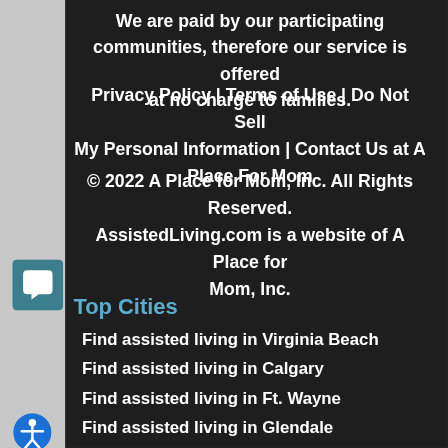We are paid by our participating communities, therefore our service is offered at no charge to families.
Privacy Policy | Terms of Use | Do Not Sell My Personal Information | Contact Us at A Place For Mom
© 2022 A Place for Mom, Inc. All Rights Reserved. AssistedLiving.com is a website of A Place for Mom, Inc.
Top Cities
Find assisted living in Virginia Beach
Find assisted living in Calgary
Find assisted living in Ft. Wayne
Find assisted living in Glendale